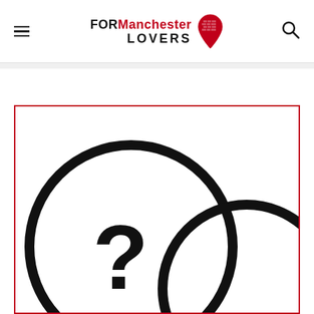FOR Manchester LOVERS
[Figure (illustration): Two overlapping speech/question bubble circles with a question mark inside, drawn in thick black outlines on white background, inside a red border box]